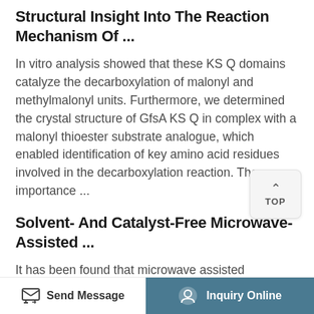Structural Insight Into The Reaction Mechanism Of ...
In vitro analysis showed that these KS Q domains catalyze the decarboxylation of malonyl and methylmalonyl units. Furthermore, we determined the crystal structure of GfsA KS Q in complex with a malonyl thioester substrate analogue, which enabled identification of key amino acid residues involved in the decarboxylation reaction. The importance ...
Solvent- And Catalyst-Free Microwave-Assisted ...
It has been found that microwave assisted decarboxylation of malonic acid derivatives can be achieved under solvent-free and catalyst free
Send Message | Inquiry Online